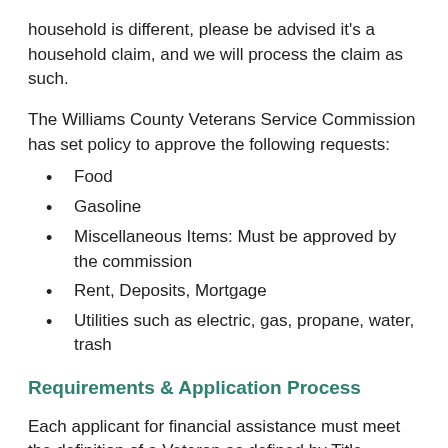household is different, please be advised it's a household claim, and we will process the claim as such.
The Williams County Veterans Service Commission has set policy to approve the following requests:
Food
Gasoline
Miscellaneous Items: Must be approved by the commission
Rent, Deposits, Mortgage
Utilities such as electric, gas, propane, water, trash
Requirements & Application Process
Each applicant for financial assistance must meet the definition of a Veteran as defined by Title 5901.01 of the Ohio Revised Code and meet the requirements set forth in the Williams County Financial Assistance Policy. Applicants must